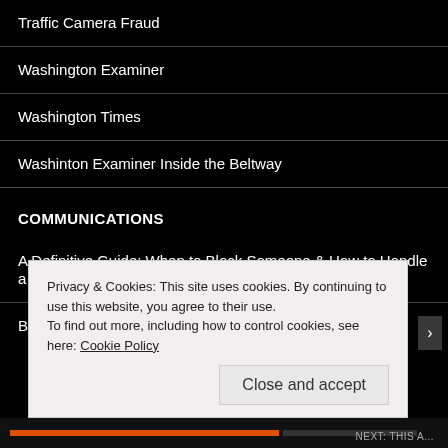Traffic Camera Fraud
Washington Examiner
Washington Times
Washinton Examiner Inside the Beltway
COMMUNICATIONS
A Definitive Guide: When to Block Someone & How to Handle a Social Media Crisis
Bernstein Crisis Management
Privacy & Cookies: This site uses cookies. By continuing to use this website, you agree to their use.
To find out more, including how to control cookies, see here: Cookie Policy
Close and accept